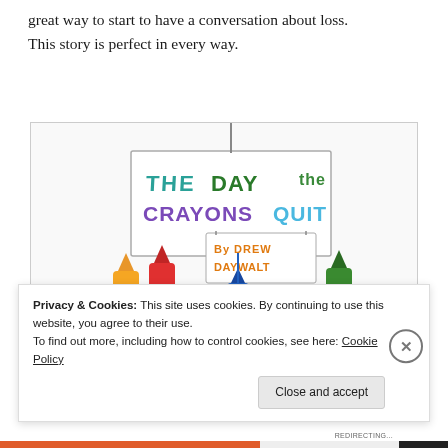great way to start to have a conversation about loss. This story is perfect in every way.
[Figure (illustration): Book cover illustration for 'The Day the Crayons Quit' by Drew Daywalt, showing cartoon crayon characters holding a protest sign with the title text in colorful crayon-style lettering. Characters include orange, red, blue, and green crayons.]
Privacy & Cookies: This site uses cookies. By continuing to use this website, you agree to their use.
To find out more, including how to control cookies, see here: Cookie Policy
Close and accept